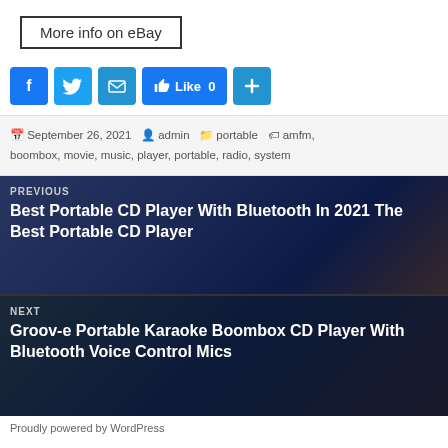[Figure (other): More info on eBay button with border]
[Figure (other): Social sharing bar with Facebook, Twitter, Email, Like, and Plus buttons]
September 26, 2021   admin   portable   amfm, boombox, movie, music, player, portable, radio, system
[Figure (other): Previous post navigation: Best Portable CD Player With Bluetooth In 2021 The Best Portable CD Player]
[Figure (other): Next post navigation: Groov-e Portable Karaoke Boombox CD Player With Bluetooth Voice Control Mics]
Proudly powered by WordPress